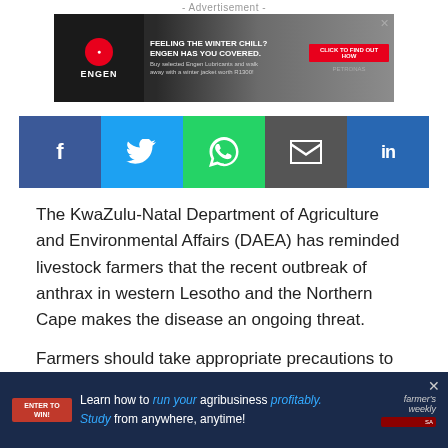- Advertisement -
[Figure (illustration): Engen banner advertisement: 'Feeling the winter chill? Engen has you covered.' with red call-to-action button 'Click to find out how']
[Figure (infographic): Social media share buttons: Facebook (dark blue), Twitter (light blue), WhatsApp (green), Email (dark grey), LinkedIn (blue)]
The KwaZulu-Natal Department of Agriculture and Environmental Affairs (DAEA) has reminded livestock farmers that the recent outbreak of anthrax in western Lesotho and the Northern Cape makes the disease an ongoing threat.
Farmers should take appropriate precautions to prevent
[Figure (illustration): Bottom advertisement: 'Learn how to run your agribusiness profitably. Study from anywhere, anytime!' - Farmer's Weekly advertisement with Enter to Win badge]